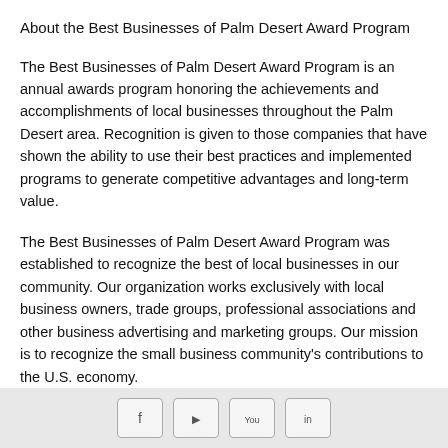About the Best Businesses of Palm Desert Award Program
The Best Businesses of Palm Desert Award Program is an annual awards program honoring the achievements and accomplishments of local businesses throughout the Palm Desert area. Recognition is given to those companies that have shown the ability to use their best practices and implemented programs to generate competitive advantages and long-term value.
The Best Businesses of Palm Desert Award Program was established to recognize the best of local businesses in our community. Our organization works exclusively with local business owners, trade groups, professional associations and other business advertising and marketing groups. Our mission is to recognize the small business community's contributions to the U.S. economy.
[Figure (other): Footer bar with four social media icon buttons (Facebook, Twitter/other, YouTube, and one more)]